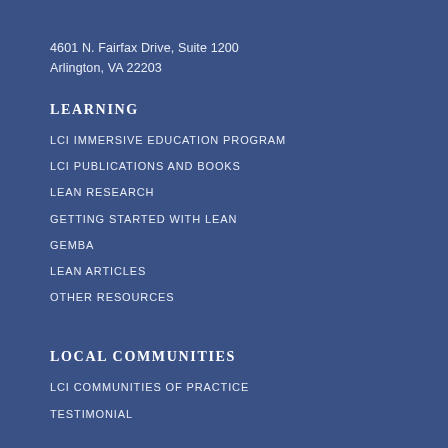4601 N. Fairfax Drive, Suite 1200
Arlington, VA 22203
LEARNING
LCI IMMERSIVE EDUCATION PROGRAM
LCI PUBLICATIONS AND BOOKS
LEAN RESEARCH
GETTING STARTED WITH LEAN
GEMBA
LEAN ARTICLES
OTHER RESOURCES
LOCAL COMMUNITIES
LCI COMMUNITIES OF PRACTICE
TESTIMONIAL